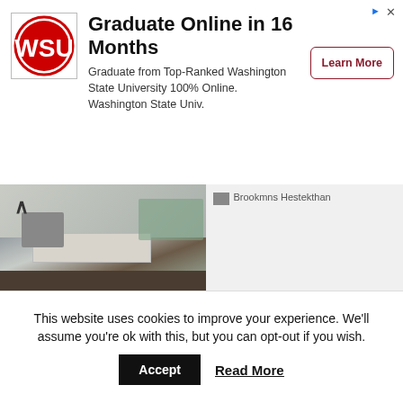[Figure (screenshot): Advertisement banner for Washington State University - Graduate Online in 16 Months. Features WSU logo, text, and Learn More button.]
[Figure (photo): Kitchen interior photo showing white cabinets, dark island countertop, and chairs. Partially visible with up arrow navigation icon.]
Brookmns Hestekthan
Home
About
Advertise
[Figure (screenshot): Advertisement for BriteCo jewelry insurance. From $5/mo - Zero Deductible. See Why BriteCo is The Best Choice To Protect Your Jewelry. Features green/teal chevron logo on black background.]
This website uses cookies to improve your experience. We'll assume you're ok with this, but you can opt-out if you wish.
Accept
Read More